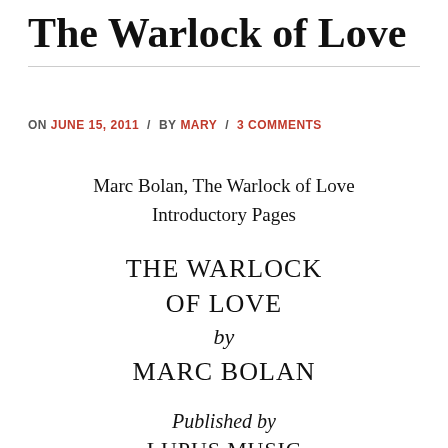The Warlock of Love
ON JUNE 15, 2011 / BY MARY / 3 COMMENTS
Marc Bolan, The Warlock of Love
Introductory Pages
THE WARLOCK
OF LOVE
by
MARC BOLAN
Published by
LUPUS MUSIC